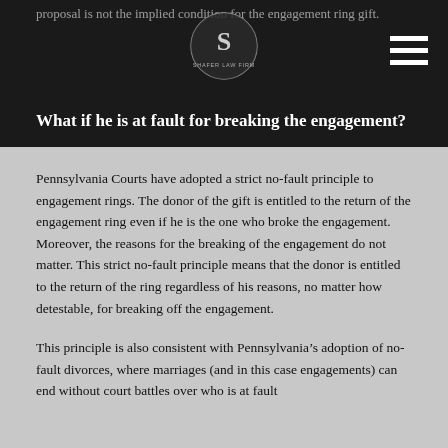proposal is not the implied condition for the engagement ring gift.
[Figure (logo): Shafer Law Firm circular logo with stylized S and firm name]
What if he is at fault for breaking the engagement?
Pennsylvania Courts have adopted a strict no-fault principle to engagement rings. The donor of the gift is entitled to the return of the engagement ring even if he is the one who broke the engagement. Moreover, the reasons for the breaking of the engagement do not matter. This strict no-fault principle means that the donor is entitled to the return of the ring regardless of his reasons, no matter how detestable, for breaking off the engagement.
This principle is also consistent with Pennsylvania’s adoption of no-fault divorces, where marriages (and in this case engagements) can end without court battles over who is at fault